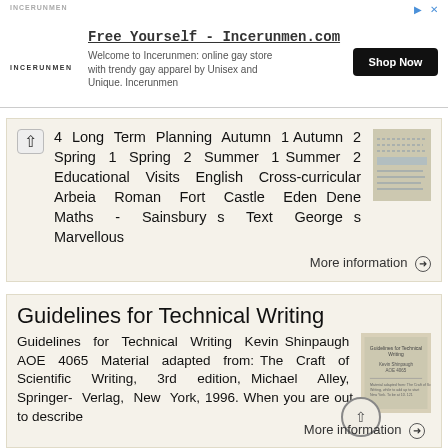[Figure (screenshot): Advertisement banner for Incerunmen.com - Free Yourself online gay store with Shop Now button]
4 Long Term Planning Autumn 1 Autumn 2 Spring 1 Spring 2 Summer 1 Summer 2 Educational Visits English Cross-curricular Arbeia Roman Fort Castle Eden Dene Maths - Sainsbury s Text George s Marvellous
More information →
Guidelines for Technical Writing
Guidelines for Technical Writing Kevin Shinpaugh AOE 4065 Material adapted from: The Craft of Scientific Writing, 3rd edition, Michael Alley, Springer- Verlag, New York, 1996. When you are out to describe
More information →